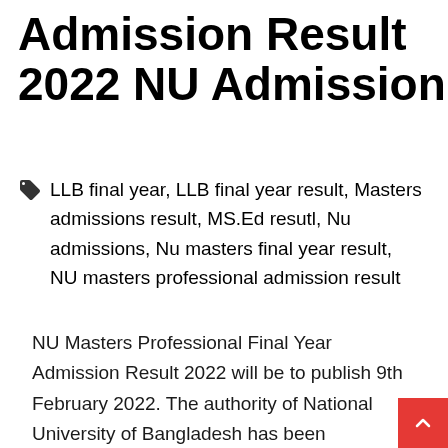Admission Result 2022 NU Admission
LLB final year, LLB final year result, Masters admissions result, MS.Ed resutl, Nu admissions, Nu masters final year result, NU masters professional admission result
NU Masters Professional Final Year Admission Result 2022 will be to publish 9th February 2022. The authority of National University of Bangladesh has been announcing that NU Masters Professional Final Year Admission Result 2022 will be published 09th February (probably). You can download or see your result from NU website or our website.